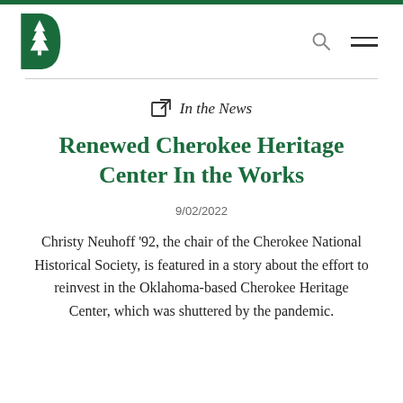Dartmouth College
In the News
Renewed Cherokee Heritage Center In the Works
9/02/2022
Christy Neuhoff '92, the chair of the Cherokee National Historical Society, is featured in a story about the effort to reinvest in the Oklahoma-based Cherokee Heritage Center, which was shuttered by the pandemic.